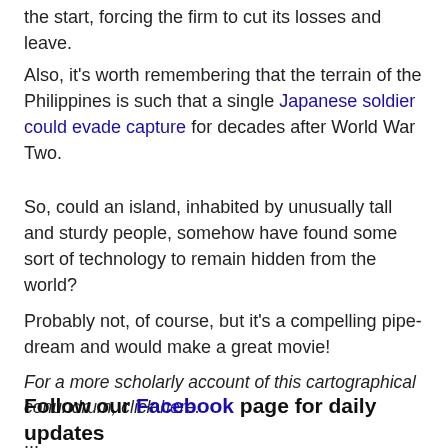the start, forcing the firm to cut its losses and leave.
Also, it's worth remembering that the terrain of the Philippines is such that a single Japanese soldier could evade capture for decades after World War Two.
So, could an island, inhabited by unusually tall and sturdy people, somehow have found some sort of technology to remain hidden from the world?
Probably not, of course, but it's a compelling pipe-dream and would make a great movie!
For a more scholarly account of this cartographical conundrum, click here.
Follow our Facebook page for daily updates
…